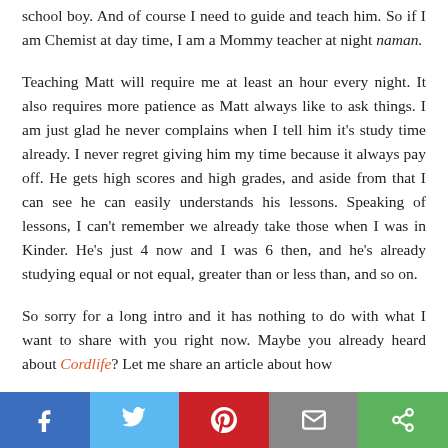school boy. And of course I need to guide and teach him. So if I am Chemist at day time, I am a Mommy teacher at night naman.
Teaching Matt will require me at least an hour every night. It also requires more patience as Matt always like to ask things. I am just glad he never complains when I tell him it's study time already. I never regret giving him my time because it always pay off. He gets high scores and high grades, and aside from that I can see he can easily understands his lessons. Speaking of lessons, I can't remember we already take those when I was in Kinder. He's just 4 now and I was 6 then, and he's already studying equal or not equal, greater than or less than, and so on.
So sorry for a long intro and it has nothing to do with what I want to share with you right now. Maybe you already heard about Cordlife? Let me share an article about how
[Figure (other): Social media share bar at the bottom with Facebook, Twitter, Pinterest, Email, and Share buttons]